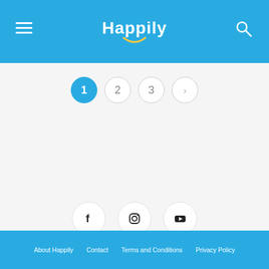Happily
[Figure (infographic): Pagination bar with page 1 active (blue circle), pages 2, 3, and next arrow in outlined circles]
[Figure (infographic): Social media icons: Facebook, Instagram, YouTube in circular outlined buttons]
About Happily   Contact   Terms and Conditions   Privacy Policy